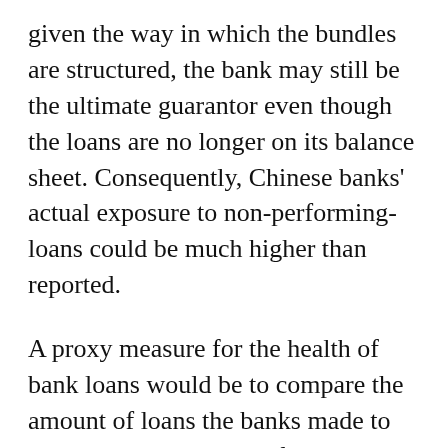given the way in which the bundles are structured, the bank may still be the ultimate guarantor even though the loans are no longer on its balance sheet. Consequently, Chinese banks' actual exposure to non-performing-loans could be much higher than reported.
A proxy measure for the health of bank loans would be to compare the amount of loans the banks made to the income they earned from those loans. Banks in China have seen diminishing income from loans, which suggests that non-performing loans are higher than reported figures. This fact is often